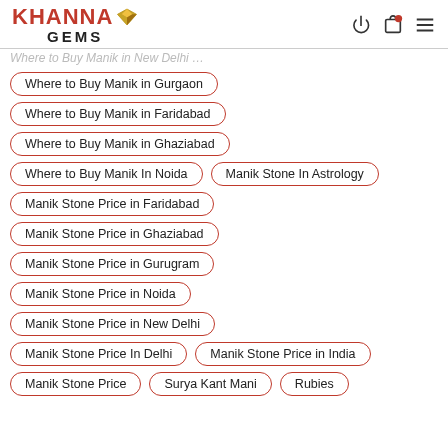Khanna Gems logo with navigation icons
Where to Buy Manik in Gurgaon
Where to Buy Manik in Faridabad
Where to Buy Manik in Ghaziabad
Where to Buy Manik In Noida
Manik Stone In Astrology
Manik Stone Price in Faridabad
Manik Stone Price in Ghaziabad
Manik Stone Price in Gurugram
Manik Stone Price in Noida
Manik Stone Price in New Delhi
Manik Stone Price In Delhi
Manik Stone Price in India
Manik Stone Price
Surya Kant Mani
Rubies